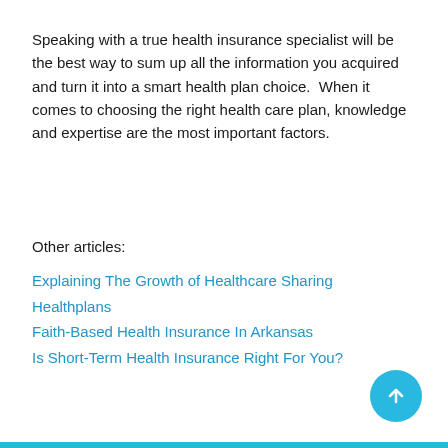Speaking with a true health insurance specialist will be the best way to sum up all the information you acquired and turn it into a smart health plan choice.  When it comes to choosing the right health care plan, knowledge and expertise are the most important factors.
Other articles:
Explaining The Growth of Healthcare Sharing Healthplans
Faith-Based Health Insurance In Arkansas
Is Short-Term Health Insurance Right For You?